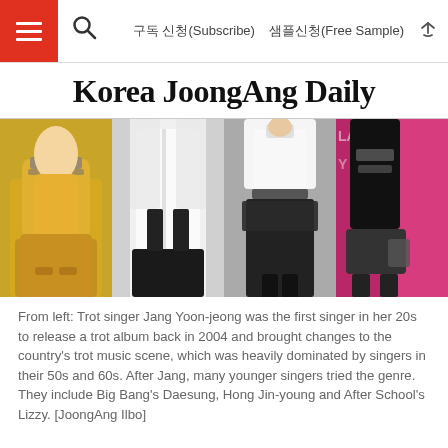구독 신청(Subscribe)   샘플신청(Free Sample)
Korea JoongAng Daily
[Figure (photo): Four photos side by side showing Korean pop/trot singers from the torso down: yellow top, white blouse with black pants, white top with black skirt, black outfit at an event.]
From left: Trot singer Jang Yoon-jeong was the first singer in her 20s to release a trot album back in 2004 and brought changes to the country's trot music scene, which was heavily dominated by singers in their 50s and 60s. After Jang, many younger singers tried the genre. They include Big Bang's Daesung, Hong Jin-young and After School's Lizzy. [JoongAng Ilbo]
Trot, an early form of Korean pop music, used to be considered a genre for singers over 40 and was also typically consumed by